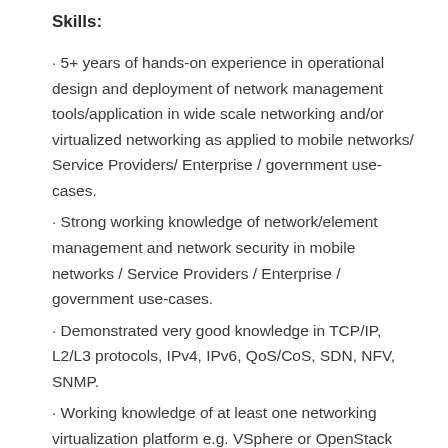Skills:
5+ years of hands-on experience in operational design and deployment of network management tools/application in wide scale networking and/or virtualized networking as applied to mobile networks/ Service Providers/ Enterprise / government use-cases.
Strong working knowledge of network/element management and network security in mobile networks / Service Providers / Enterprise / government use-cases.
Demonstrated very good knowledge in TCP/IP, L2/L3 protocols, IPv4, IPv6, QoS/CoS, SDN, NFV, SNMP.
Working knowledge of at least one networking virtualization platform e.g. VSphere or OpenStack